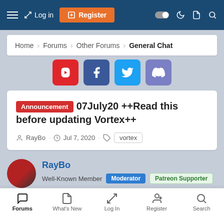Log in | Register | [nav icons]
Home > Forums > Other Forums > General Chat
[Figure (infographic): Social media buttons: YouTube, Facebook, Twitter, Discord]
Announcement 07July20 ++Read this before updating Vortex++
RayBo · Jul 7, 2020 · vortex
RayBo — Well-Known Member | Moderator | Patreon Supporter
Forums | What's New | Log In | Register | Search